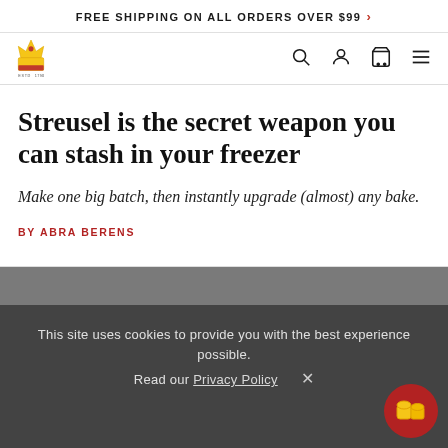FREE SHIPPING ON ALL ORDERS OVER $99 >
[Figure (logo): King Arthur Baking Company logo with crown/wheat icon, ESTD 1790 text]
Streusel is the secret weapon you can stash in your freezer
Make one big batch, then instantly upgrade (almost) any bake.
BY ABRA BERENS
This site uses cookies to provide you with the best experience possible.
Read our Privacy Policy